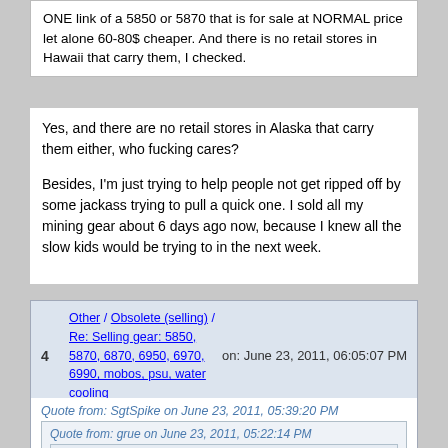ONE link of a 5850 or 5870 that is for sale at NORMAL price let alone 60-80$ cheaper.  And there is no retail stores in Hawaii that carry them, I checked.
Yes, and there are no retail stores in Alaska that carry them either, who fucking cares?

Besides, I'm just trying to help people not get ripped off by some jackass trying to pull a quick one.  I sold all my mining gear about 6 days ago now, because I knew all the slow kids would be trying to in the next week.
4  Other / Obsolete (selling) / Re: Selling gear: 5850, 5870, 6870, 6950, 6970, 6990, mobos, psu, water cooling  on: June 23, 2011, 06:05:07 PM
Quote from: SgtSpike on June 23, 2011, 05:39:20 PM
Quote from: grue on June 23, 2011, 05:22:14 PM
Quote from: SgtSpike on June 23, 2011, 05:19:03 PM
Wow, so much hate!  If you don't like his prices, send him an offer, don't QQ like a child (unless you are one)!  😎

OP, your prices are very reasonable, especially compared to other selling-for-btc posts I've seen